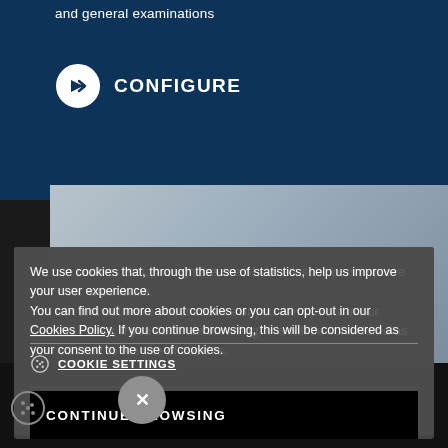and general examinations
CONFIGURE
[Figure (screenshot): Cookie consent overlay dialog on a website. Contains cookie policy text, a Cookie Settings link, and a Continue Browsing button.]
We use cookies that, through the use of statistics, help us improve your user experience.
You can find out more about cookies or you can opt-out in our Cookies Policy. If you continue browsing, this will be considered as your consent to the use of cookies.
COOKIE SETTINGS
CONTINUE BROWSING